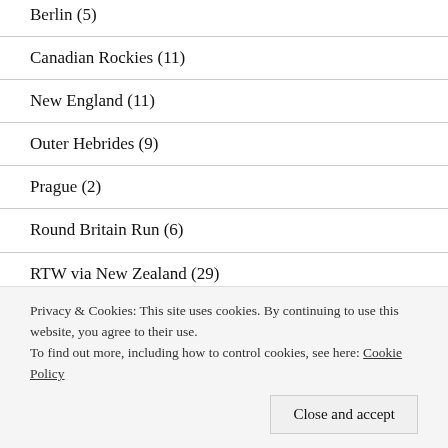Berlin (5)
Canadian Rockies (11)
New England (11)
Outer Hebrides (9)
Prague (2)
Round Britain Run (6)
RTW via New Zealand (29)
Skye (7)
Privacy & Cookies: This site uses cookies. By continuing to use this website, you agree to their use.
To find out more, including how to control cookies, see here: Cookie Policy